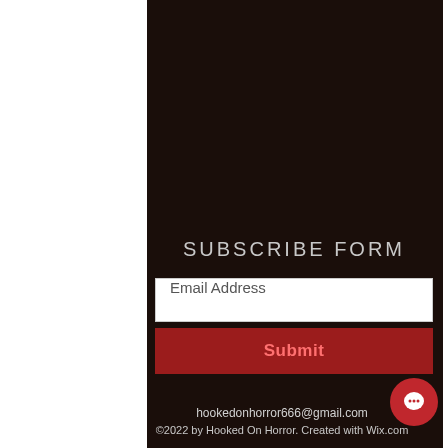SUBSCRIBE FORM
Email Address
Submit
hookedonhorror666@gmail.com
©2022 by Hooked On Horror. Created with Wix.com